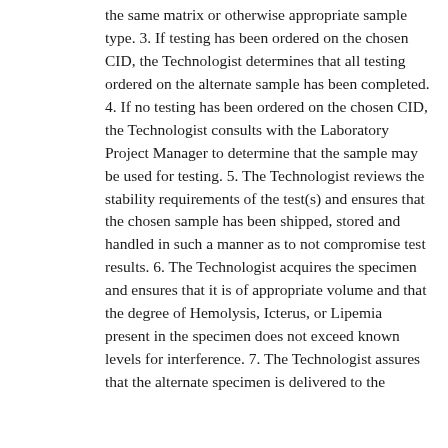the same matrix or otherwise appropriate sample type. 3. If testing has been ordered on the chosen CID, the Technologist determines that all testing ordered on the alternate sample has been completed. 4. If no testing has been ordered on the chosen CID, the Technologist consults with the Laboratory Project Manager to determine that the sample may be used for testing. 5. The Technologist reviews the stability requirements of the test(s) and ensures that the chosen sample has been shipped, stored and handled in such a manner as to not compromise test results. 6. The Technologist acquires the specimen and ensures that it is of appropriate volume and that the degree of Hemolysis, Icterus, or Lipemia present in the specimen does not exceed known levels for interference. 7. The Technologist assures that the alternate specimen is delivered to the